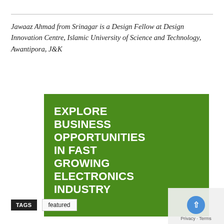Jawaaz Ahmad from Srinagar is a Design Fellow at Design Innovation Centre, Islamic University of Science and Technology, Awantipora, J&K
[Figure (illustration): Green square image with bold white uppercase text reading: EXPLORE BUSINESS OPPORTUNITIES IN FAST GROWING ELECTRONICS INDUSTRY]
TAGS  featured